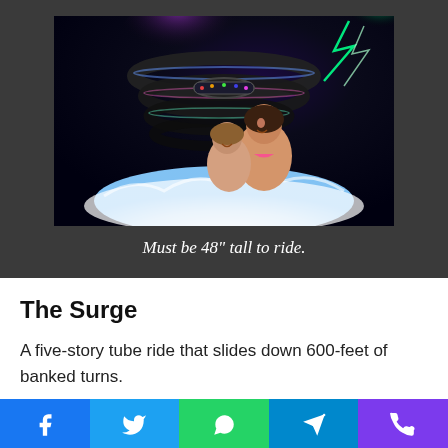[Figure (photo): Two people (a child and an adult woman) laughing and riding a water tube slide, with a dramatic digital composite background showing spiraling water slides and lightning effects on a dark space-like background.]
Must be 48" tall to ride.
The Surge
A five-story tube ride that slides down 600-feet of banked turns.